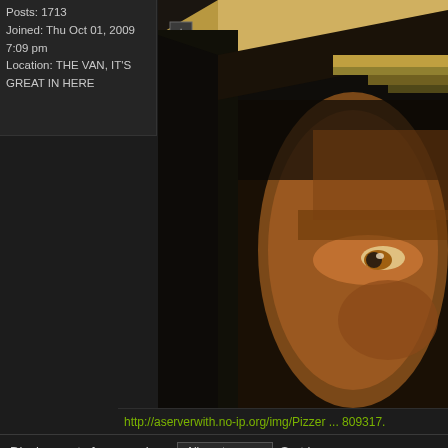Posts: 1713
Joined: Thu Oct 01, 2009 7:09 pm
Location: THE VAN, IT'S GREAT IN HERE
[Figure (photo): Partial image of a face showing an eye region with orange/brown tones, appears to be a game character or artwork, cropped diagonally at top with a toolbar icon visible]
http://aserverwith.no-ip.org/img/Pizzer ... 809317.
Display posts from previous:
All posts
Sort b
POST REPLY
Return to Tech
Ju
WHO IS ONLINE
Users browsing this forum: No registered users and 1 guest
Board index
Th
Powered by phpBB © 2000, 2002, ...
Lucid Lime style by D